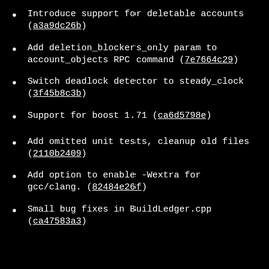Introduce support for deletable accounts (a3a9dc26b)
Add deletion_blockers_only param to account_objects RPC command (7e7664c29)
Switch deadlock detector to steady_clock (3f45b8c3b)
Support for boost 1.71 (ca6d5798e)
Add omitted unit tests, cleanup old files (2110b2409)
Add option to enable -Wextra for gcc/clang. (82484e26f)
Small bug fixes in BuildLedger.cpp (ca47583a3)